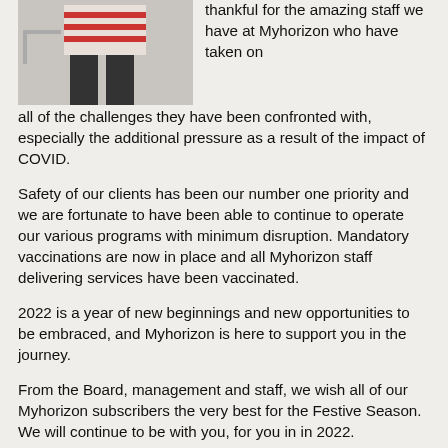[Figure (photo): A person wearing a striped sweater and dark pants, partially visible in the upper left portion of the page.]
thankful for the amazing staff we have at Myhorizon who have taken on all of the challenges they have been confronted with, especially the additional pressure as a result of the impact of COVID.
Safety of our clients has been our number one priority and we are fortunate to have been able to continue to operate our various programs with minimum disruption. Mandatory vaccinations are now in place and all Myhorizon staff delivering services have been vaccinated.
2022 is a year of new beginnings and new opportunities to be embraced, and Myhorizon is here to support you in the journey.
From the Board, management and staff, we wish all of our Myhorizon subscribers the very best for the Festive Season. We will continue to be with you, for you in in 2022.